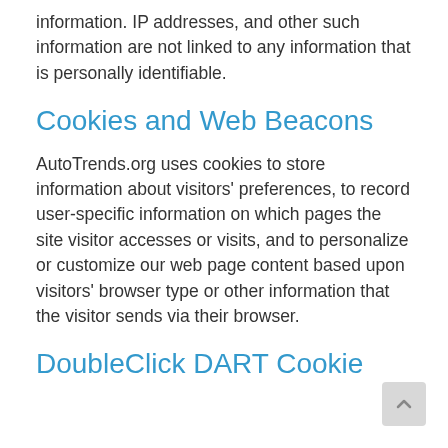information. IP addresses, and other such information are not linked to any information that is personally identifiable.
Cookies and Web Beacons
AutoTrends.org uses cookies to store information about visitors' preferences, to record user-specific information on which pages the site visitor accesses or visits, and to personalize or customize our web page content based upon visitors' browser type or other information that the visitor sends via their browser.
DoubleClick DART Cookie